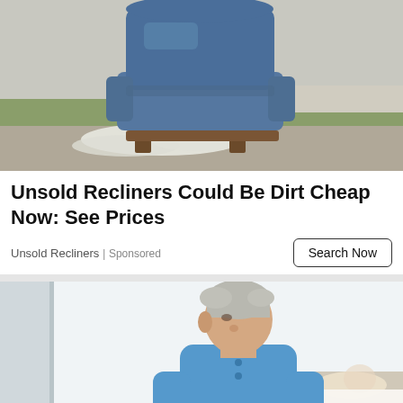[Figure (photo): A blue recliner chair sitting on a curb or lawn outside, with packing materials/foam on the ground, suburban street and grass visible.]
Unsold Recliners Could Be Dirt Cheap Now: See Prices
Unsold Recliners | Sponsored
Search Now
[Figure (photo): An older man with grey hair wearing a blue t-shirt, standing in what appears to be a bright white medical or bedroom setting, another person lying in a bed visible in the background.]